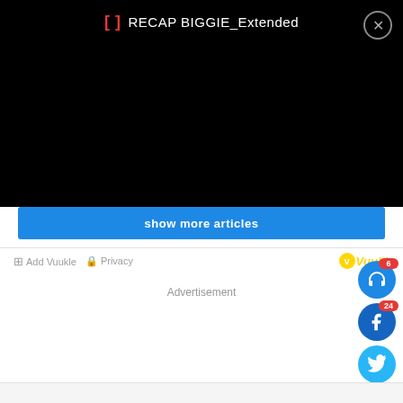[Figure (screenshot): Black video player bar at top showing RECAP BIGGIE_Extended title with bracket icon in red and close button]
show more articles
⊞ Add Vuukle  🔒 Privacy
[Figure (logo): Vuukle logo in yellow/gold italic text]
Advertisement
[Figure (infographic): Social sharing sidebar with headphone icon (badge:6), Facebook icon (badge:24), Twitter icon, WhatsApp icon, laugh emoji, red chat icon, orange chat icon, and partially visible share icon at bottom]